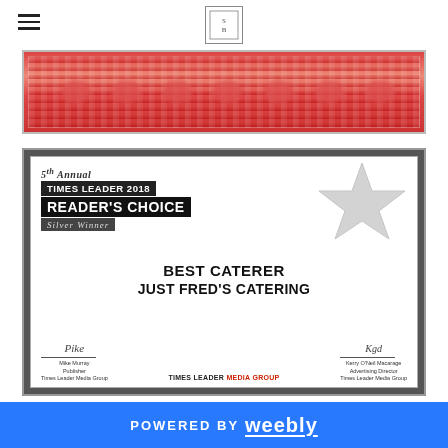Navigation header with hamburger menu and logo
[Figure (photo): Decorative red certificate border strip at the top of a framed award]
[Figure (photo): Framed award certificate: 5th Annual Times Leader 2018 Reader's Choice Silver Winner — Best Caterer, Just Fred's Catering. Signed by Mike Murray (Publisher) and Kerry O'Neil Macarage (Advertising Director), Times Leader Media Group.]
POWERED BY weebly